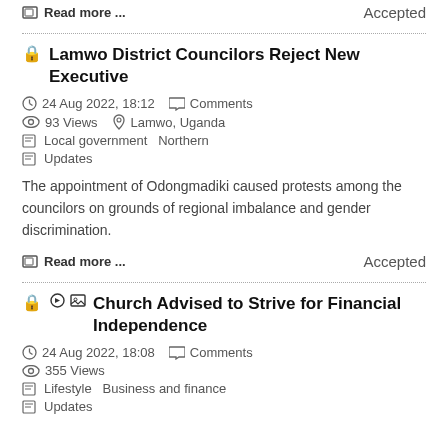Read more ...    Accepted
Lamwo District Councilors Reject New Executive
24 Aug 2022, 18:12   Comments   93 Views   Lamwo, Uganda   Local government   Northern   Updates
The appointment of Odongmadiki caused protests among the councilors on grounds of regional imbalance and gender discrimination.
Read more ...    Accepted
Church Advised to Strive for Financial Independence
24 Aug 2022, 18:08   Comments   355 Views   Lifestyle   Business and finance   Updates